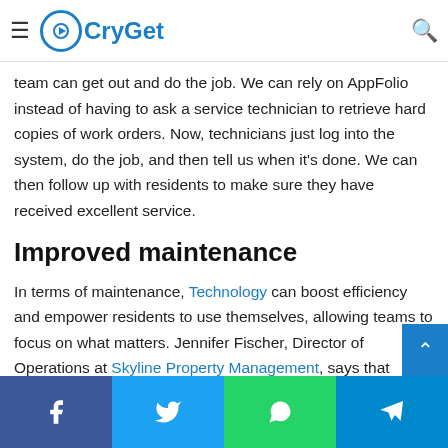CryGet [navigation bar with logo, hamburger menu, and search icon]
concept also benefits when it comes to maintenance. The entire work order process—from how residents submit their orders to how quickly our technical team can get out and do the job. We can rely on AppFolio instead of having to ask a service technician to retrieve hard copies of work orders. Now, technicians just log into the system, do the job, and then tell us when it's done. We can then follow up with residents to make sure they have received excellent service.
Improved maintenance
In terms of maintenance, Technology can boost efficiency and empower residents to use themselves, allowing teams to focus on what matters. Jennifer Fischer, Director of Operations at Skyline Property Management, says that having an online
Facebook | Twitter | WhatsApp | Telegram (social sharing bar)